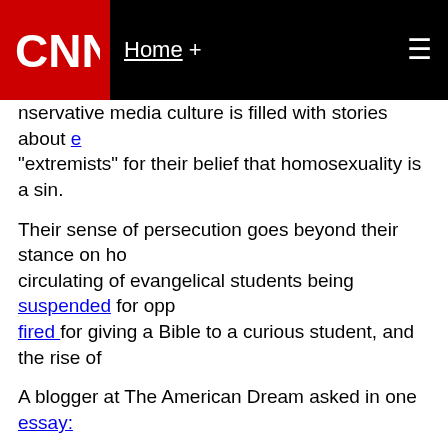CNN | Home +
nservative media culture is filled with stories about e… "extremists" for their belief that homosexuality is a sin.
Their sense of persecution goes beyond their stance on ho… circulating of evangelical students being suspended for opp… fired for giving a Bible to a curious student, and the rise of …
A blogger at The American Dream asked in one essay:
“Are evangelical Christians rapidly becoming one of the mo…
The reluctance of evangelicals to speak out against homose… they are being forced into the closet.
Joe Carter, editor for The Gospel Coalition, an online evange… post entitled “Debatable: Is the Christian Church a ‘Hate Gro… people will abandon “orthodox” Christian churches that tea… fear of being called haters.
“Faux civility, embarrassment, prudishness and a fear of ex… has caused many Christians to refrain from explaining how…